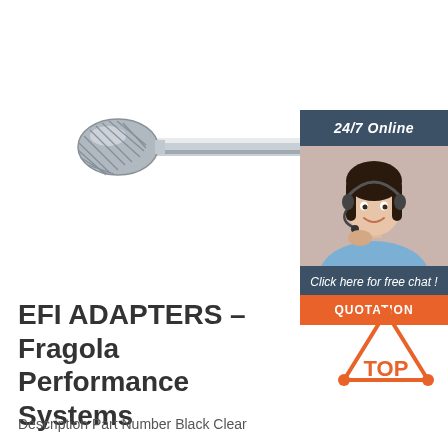[Figure (photo): Carbide rotary burr tool with oval/egg-shaped cutting head and cylindrical shank, silver/grey metallic, shown horizontally]
[Figure (infographic): 24/7 Online chat widget with dark blue header reading '24/7 Online', photo of smiling woman with headset, dark blue footer reading 'Click here for free chat!', orange button reading 'QUOTATION']
EFI ADAPTERS – Fragola Performance Systems
Description Part Number Black Clear
[Figure (logo): TOP logo: orange triangle outline with orange dots at corners and 'TOP' text in orange below]